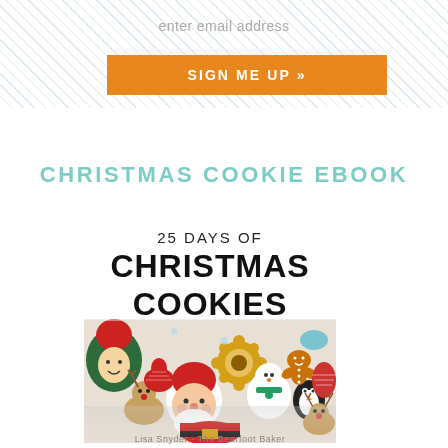enter email address
SIGN ME UP »
CHRISTMAS COOKIE EBOOK
[Figure (photo): Book cover for '25 Days of Christmas Cookies' showing decorated Christmas cookies including Santa, reindeer, gingerbread men, elves, snowmen and other festive characters. Text reads '25 DAYS OF CHRISTMAS COOKIES'.]
Lisa Snyder - The Bearfoot Baker